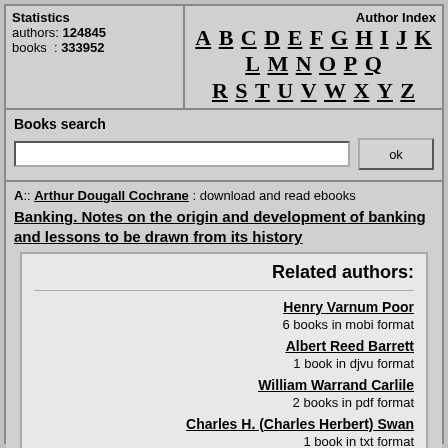Statistics
authors: 124845
books: 333952
Author Index
A B C D E F G H I J K L M N O P Q R S T U V W X Y Z
Books search
ok
A:: Arthur Dougall Cochrane : download and read ebooks
Banking. Notes on the origin and development of banking and lessons to be drawn from its history
Related authors:
Henry Varnum Poor
6 books in mobi format
Albert Reed Barrett
1 book in djvu format
William Warrand Carlile
2 books in pdf format
Charles H. (Charles Herbert) Swan
1 book in txt format
William Atherton DuPuy
3 books in pdf format